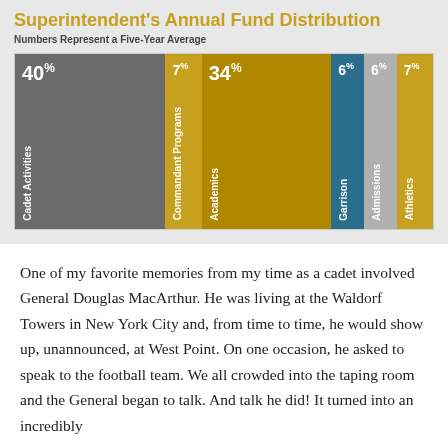Superintendent's Annual Fund Distribution
Numbers Represent a Five-Year Average
[Figure (bar-chart): Superintendent's Annual Fund Distribution]
One of my favorite memories from my time as a cadet involved General Douglas MacArthur. He was living at the Waldorf Towers in New York City and, from time to time, he would show up, unannounced, at West Point. On one occasion, he asked to speak to the football team. We all crowded into the taping room and the General began to talk. And talk he did! It turned into an incredibly